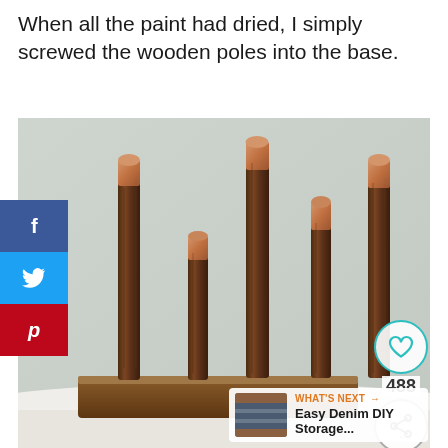When all the paint had dried, I simply screwed the wooden poles into the base.
[Figure (photo): Five wooden poles with copper-painted tops screwed into a wooden base block, photographed against a light gray concrete wall background. Social sharing sidebar on the left (Facebook, Twitter, Pinterest). Heart and share buttons on the right with count 488. 'What's Next' banner in the bottom right corner showing Easy Denim DIY Storage.]